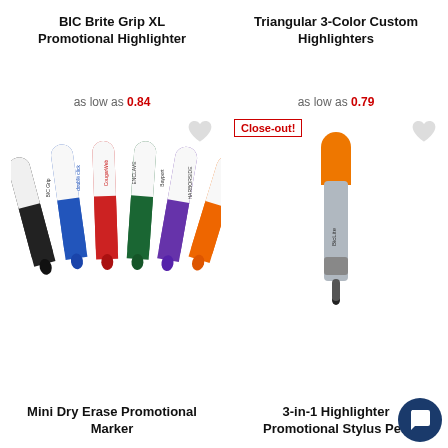BIC Brite Grip XL Promotional Highlighter
as low as 0.84
Triangular 3-Color Custom Highlighters
as low as 0.79
[Figure (photo): Six BIC Brite Grip XL promotional highlighters in black, blue, red, green, purple, and orange colors with various brand logos printed on them]
Close-out!
[Figure (photo): A 3-in-1 Highlighter Promotional Stylus Pen with an orange cap and silver/grey body with a stylus tip at the bottom]
Mini Dry Erase Promotional Marker
3-in-1 Highlighter Promotional Stylus Pen